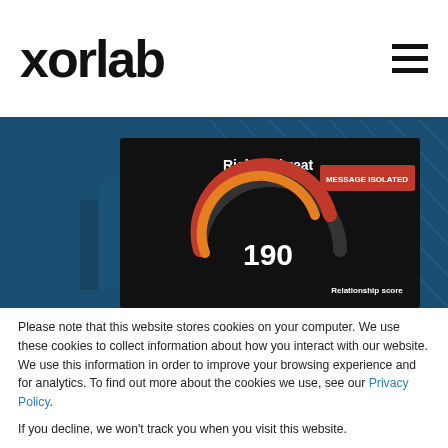xorlab
[Figure (screenshot): Xorlab web application screenshot showing Risk & Threat dashboard panel with a gauge reading 190, MESSAGE ISOLATED red badge, and Relationship score panel. Background is dark blue with diagonal line pattern.]
Please note that this website stores cookies on your computer. We use these cookies to collect information about how you interact with our website. We use this information in order to improve your browsing experience and for analytics. To find out more about the cookies we use, see our Privacy Policy.
If you decline, we won't track you when you visit this website.
Settings  Accept  Decline